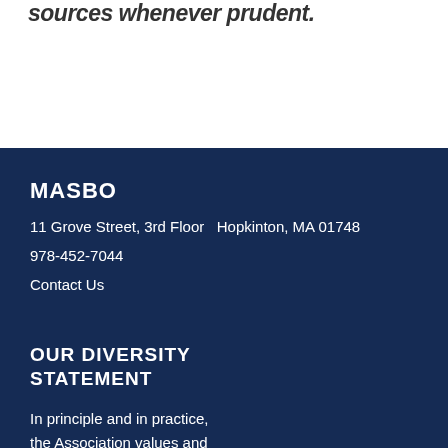sources whenever prudent.
MASBO
11 Grove Street, 3rd Floor  Hopkinton, MA 01748
978-452-7044
Contact Us
OUR DIVERSITY STATEMENT
In principle and in practice, the Association values and seeks diverse and inclusive participation within the field of school